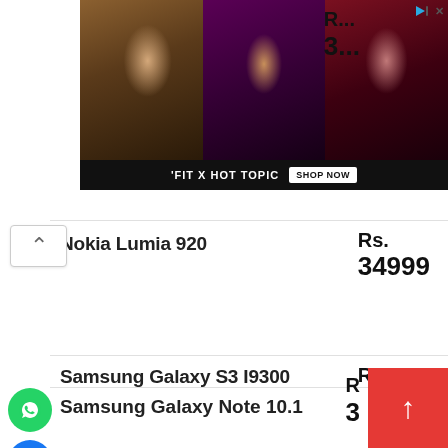[Figure (photo): Advertisement banner for 'FIT X HOT TOPIC' with three female models against dark backgrounds. Has play and close buttons in top right. 'SHOP NOW' button on the bottom bar.]
Nokia Lumia 920
Rs. 34999
[Figure (logo): Facebook social share button (blue circle with white f)]
[Figure (logo): WhatsApp social share button (green circle with white phone/message icon)]
Samsung Galaxy S3 I9300 32Gb
Rs. 34499
Samsung Galaxy Note 10.1
Rs. 3...